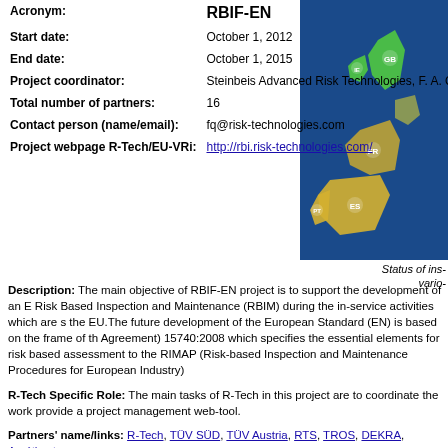| Field | Value |
| --- | --- |
| Acronym: | RBIF-EN |
| Start date: | October 1, 2012 |
| End date: | October 1, 2015 |
| Project coordinator: | Steinbeis Advanced Risk Technologies, F. A. Quintero |
| Total number of partners: | 16 |
| Contact person (name/email): | fq@risk-technologies.com |
| Project webpage R-Tech/EU-VRi: | http://rbi.risk-technologies.com/ |
[Figure (map): Map showing status of inspections across various EU countries including GB, IE, FR, ES, PT highlighted in green/yellow on a blue background]
Status of ins- various
Description: The main objective of RBIF-EN project is to support the development of an E Risk Based Inspection and Maintenance (RBIM) during the in-service activities which are s the EU.The future development of the European Standard (EN) is based on the frame of th Agreement) 15740:2008 which specifies the essential elements for risk based assessment to the RIMAP (Risk-based Inspection and Maintenance Procedures for European Industry)
R-Tech Specific Role: The main tasks of R-Tech in this project are to coordinate the work provide a project management web-tool.
Partners' name/links: R-Tech, TÜV SÜD, TÜV Austria, RTS, TROS, DEKRA, Améthyste